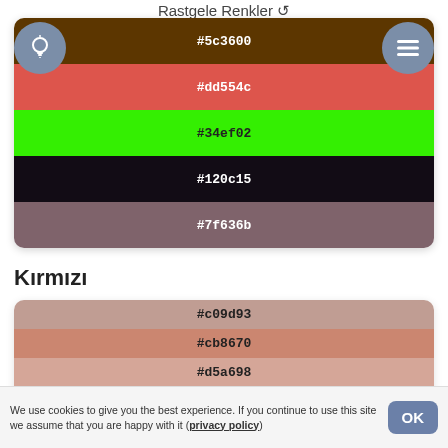Rastgele Renkler
[Figure (infographic): Random color palette showing 5 color swatches: #5c3600 (dark brown), #dd554c (coral red), #34ef02 (bright green), #120c15 (near black), #7f636b (mauve)]
Kırmızı
[Figure (infographic): Red-toned color palette showing swatches: #c09d93, #cb8670, #d5a698, #b6604a, and a partial swatch at bottom]
We use cookies to give you the best experience. If you continue to use this site we assume that you are happy with it (privacy policy)